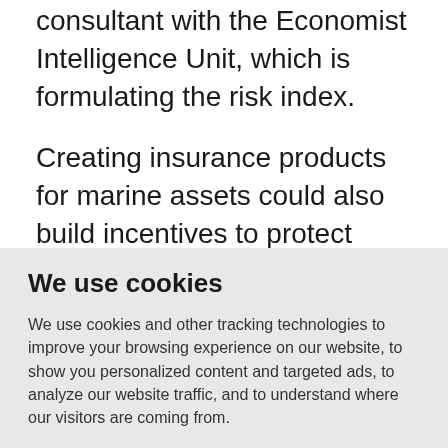consultant with the Economist Intelligence Unit, which is formulating the risk index.

Creating insurance products for marine assets could also build incentives to protect them against threats, or at least the ones local communities can control.
We use cookies
We use cookies and other tracking technologies to improve your browsing experience on our website, to show you personalized content and targeted ads, to analyze our website traffic, and to understand where our visitors are coming from.